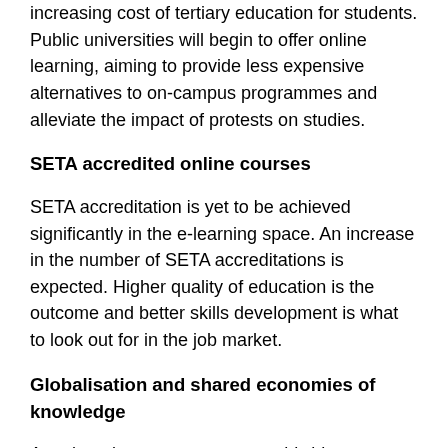increasing cost of tertiary education for students. Public universities will begin to offer online learning, aiming to provide less expensive alternatives to on-campus programmes and alleviate the impact of protests on studies.
SETA accredited online courses
SETA accreditation is yet to be achieved significantly in the e-learning space. An increase in the number of SETA accreditations is expected. Higher quality of education is the outcome and better skills development is what to look out for in the job market.
Globalisation and shared economies of knowledge
As e-learning encourages a worldwide exchange of ideas and South African institutions remain in a